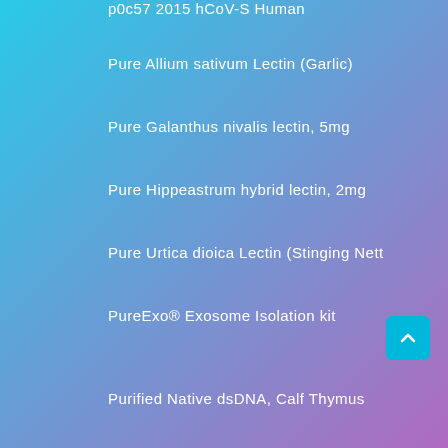p0c57 2015 hCoV-S Human
Pure Allium sativum Lectin (Garlic)
Pure Galanthus nivalis lectin, 5mg
Pure Hippeastrum hybrid lectin, 2mg
Pure Urtica dioica Lectin (Stinging Nett
PureExo® Exosome Isolation kit
Purified Native dsDNA, Calf Thymus